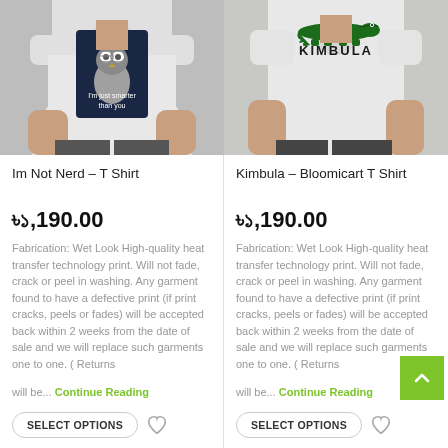[Figure (photo): Man wearing white t-shirt with owl design ('I'm just smarter than you') on dark background patch]
Im Not Nerd – T Shirt
৳১,190.00
Fabrication: Wet Look High-quality heat transfer technology print. Will not fade, crack or peel in washing. Any garment found to have a defective print (if print cracks, peels or fades) will be accepted back within 2 weeks from the date of sale and we will replace such garments one to one. ( Returns will be... Continue Reading
SELECT OPTIONS
[Figure (photo): Man wearing white t-shirt with KIMBULA logo and green crocodile design]
Kimbula – Bloomicart T Shirt
৳১,190.00
Fabrication: Wet Look High-quality heat transfer technology print. Will not fade, crack or peel in washing. Any garment found to have a defective print (if print cracks, peels or fades) will be accepted back within 2 weeks from the date of sale and we will replace such garments one to one. ( Returns will be... Continue Reading
SELECT OPTIONS